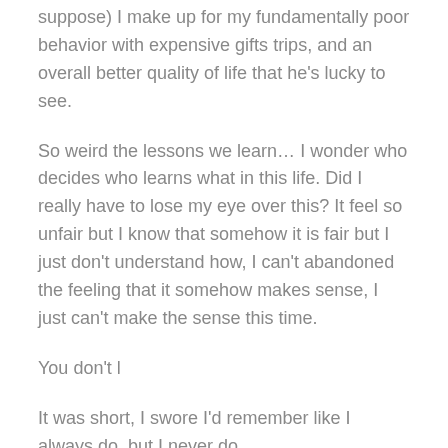suppose) I make up for my fundamentally poor behavior with expensive gifts trips, and an overall better quality of life that he's lucky to see.
So weird the lessons we learn... I wonder who decides who learns what in this life. Did I really have to lose my eye over this? It feel so unfair but I know that somehow it is fair but I just don't understand how, I can't abandoned the feeling that it somehow makes sense, I just can't make the sense this time.
You don't l
It was short, I swore I'd remember like I always do, but I never do.
Some of these covers are surprisingly good.